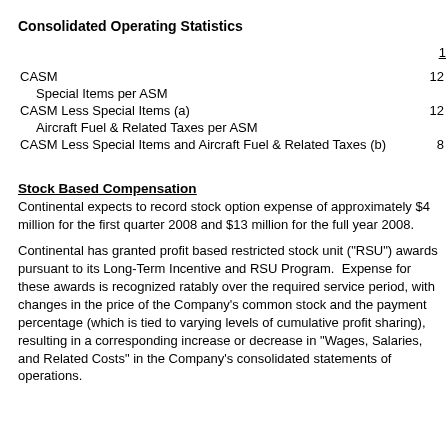Consolidated Operating Statistics
|  | 1 |
| --- | --- |
| CASM | 12 |
| Special Items per ASM |  |
| CASM Less Special Items (a) | 12 |
| Aircraft Fuel & Related Taxes per ASM |  |
| CASM Less Special Items and Aircraft Fuel & Related Taxes (b) | 8 |
Stock Based Compensation
Continental expects to record stock option expense of approximately $4 million for the first quarter 2008 and $13 million for the full year 2008.
Continental has granted profit based restricted stock unit ("RSU") awards pursuant to its Long-Term Incentive and RSU Program.  Expense for these awards is recognized ratably over the required service period, with changes in the price of the Company's common stock and the payment percentage (which is tied to varying levels of cumulative profit sharing), resulting in a corresponding increase or decrease in "Wages, Salaries, and Related Costs" in the Company's consolidated statements of operations.